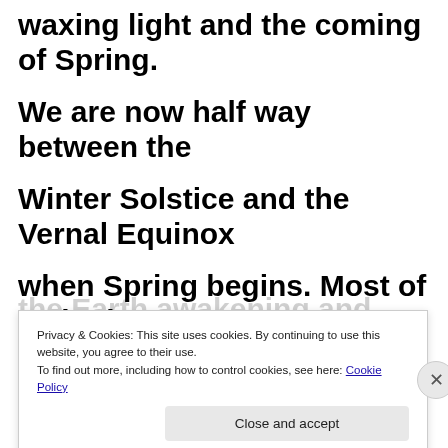waxing light and the coming of Spring.

We are now half way between the

Winter Solstice and the Vernal Equinox

when Spring begins. Most of us look

forward to the Earth awakening and
Privacy & Cookies: This site uses cookies. By continuing to use this website, you agree to their use.
To find out more, including how to control cookies, see here: Cookie Policy
Close and accept